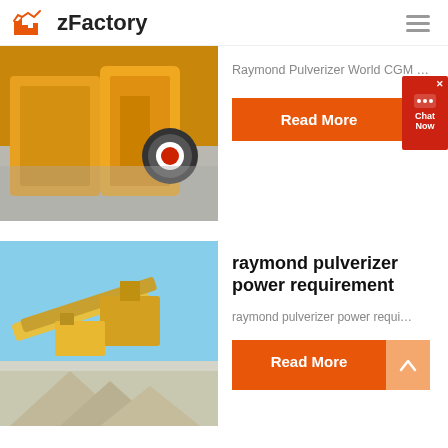zFactory
[Figure (photo): Yellow industrial impact crusher / pulverizer machine in outdoor industrial setting]
Raymond Pulverizer World CGM ...
Read More
[Figure (photo): Yellow industrial conveyor and crusher equipment at a mining/quarrying site with gravel piles and blue sky]
raymond pulverizer power requirement
raymond pulverizer power requi...
Read More